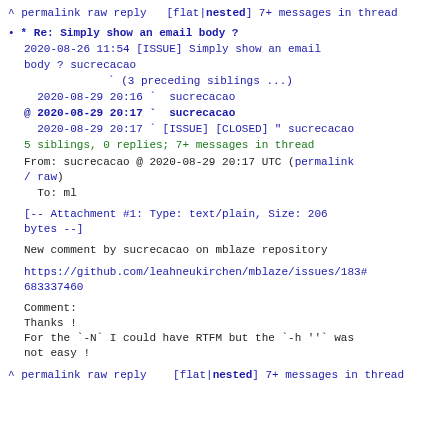^ permalink raw reply  [flat|nested] 7+ messages in thread
* Re: Simply show an email body ?
2020-08-26 11:54 [ISSUE] Simply show an email body ? sucrecacao
(3 preceding siblings ...)
2020-08-29 20:16 ` sucrecacao
@ 2020-08-29 20:17 ` sucrecacao
2020-08-29 20:17 ` [ISSUE] [CLOSED] " sucrecacao
5 siblings, 0 replies; 7+ messages in thread
From: sucrecacao @ 2020-08-29 20:17 UTC (permalink / raw)
To: ml

[-- Attachment #1: Type: text/plain, Size: 206 bytes --]

New comment by sucrecacao on mblaze repository

https://github.com/leahneukirchen/mblaze/issues/183#issuecomment-683337460

Comment:
Thanks !
For the `-N` I could have RTFM but the `-h ''` was not easy !
^ permalink raw reply  [flat|nested] 7+ messages in thread